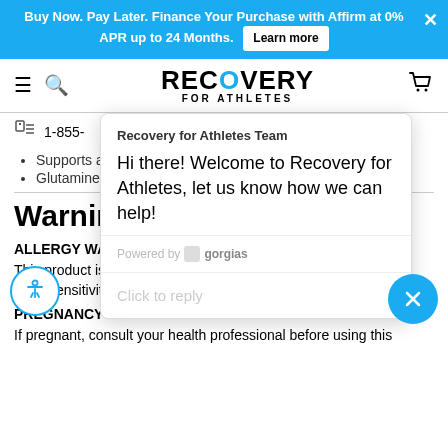Buy Now. Pay Later. Finance Your Purchase with Affirm at 0% APR up to 24 Months. Learn more
[Figure (logo): Recovery For Athletes logo with navigation icons (hamburger menu, search, cart)]
1-855-
Supports a he...
Glutamine po...
[Figure (screenshot): Chat popup from Recovery for Athletes Team: Hi there! Welcome to Recovery for Athletes, let us know how we can help! Powered by gorgias. Click to reply.]
Warnings
ALLERGY WARNING
This product is contraindicated in an individual with a history of hypersensitivity to any of its ingredients.
PREGNANCY
If pregnant, consult your health professional before using this